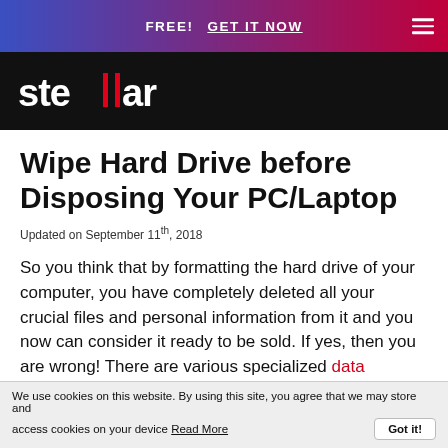FREE!  GET IT NOW
[Figure (logo): Stellar logo in white on black background]
Wipe Hard Drive before Disposing Your PC/Laptop
Updated on September 11th, 2018
So you think that by formatting the hard drive of your computer, you have completely deleted all your crucial files and personal information from it and you now can consider it ready to be sold. If yes, then you are wrong! There are various specialized data recovery tools that can recover your formatted or permanently deleted data and can
We use cookies on this website. By using this site, you agree that we may store and access cookies on your device Read More  Got it!